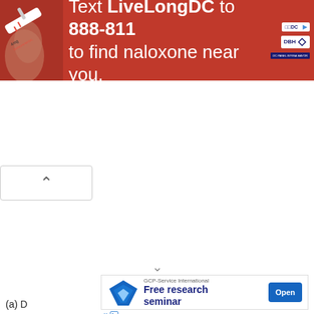[Figure (screenshot): Red banner advertisement: 'Text LiveLongDC to 888-811 to find naloxone near you.' with DC government and DBH logos, and a syringe image on the left.]
[Figure (screenshot): Collapse/accordion button with an upward-pointing chevron arrow, white background with border.]
[Figure (screenshot): Expand chevron (downward-pointing arrow) in the middle white area of the page.]
[Figure (screenshot): Bottom advertisement for GCP-Service International: 'Free research seminar' with an Open button and blue funnel logo.]
(a) D